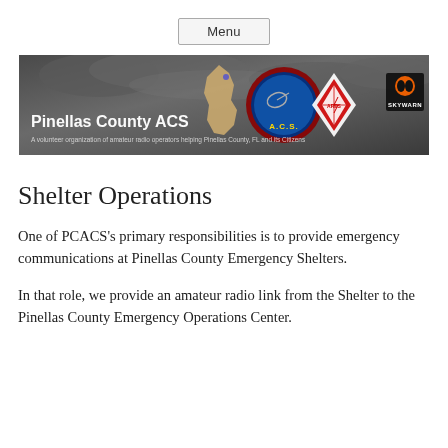Menu
[Figure (illustration): Pinellas County ACS banner with logos: a county map silhouette, ACS communications badge, Amateur Radio Emergency Service diamond logo, and SKYWARN logo on a dark cloudy background. Text reads: Pinellas County ACS – A volunteer organization of amateur radio operators helping Pinellas County, FL and its Citizens]
Shelter Operations
One of PCACS's primary responsibilities is to provide emergency communications at Pinellas County Emergency Shelters.
In that role, we provide an amateur radio link from the Shelter to the Pinellas County Emergency Operations Center.